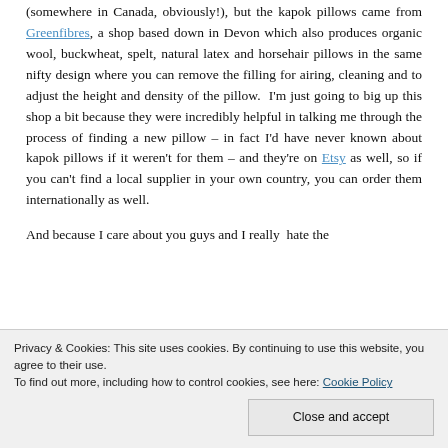(somewhere in Canada, obviously!), but the kapok pillows came from Greenfibres, a shop based down in Devon which also produces organic wool, buckwheat, spelt, natural latex and horsehair pillows in the same nifty design where you can remove the filling for airing, cleaning and to adjust the height and density of the pillow.  I'm just going to big up this shop a bit because they were incredibly helpful in talking me through the process of finding a new pillow – in fact I'd have never known about kapok pillows if it weren't for them – and they're on Etsy as well, so if you can't find a local supplier in your own country, you can order them internationally as well.

And because I care about you guys and I really  hate the
Privacy & Cookies: This site uses cookies. By continuing to use this website, you agree to their use.
To find out more, including how to control cookies, see here: Cookie Policy